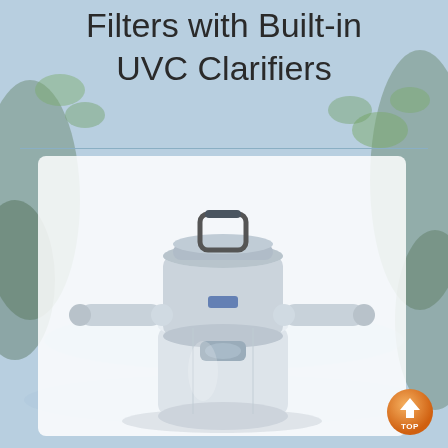Filters with Built-in UVC Clarifiers
[Figure (photo): A pond pressure filter with built-in UVC clarifier — a white/light grey canister unit with inlet/outlet hose connectors and a handle on top, shown against a white background inside a rounded card.]
[Figure (other): Orange circular 'TOP' scroll-to-top button with an upward arrow in the bottom right corner.]